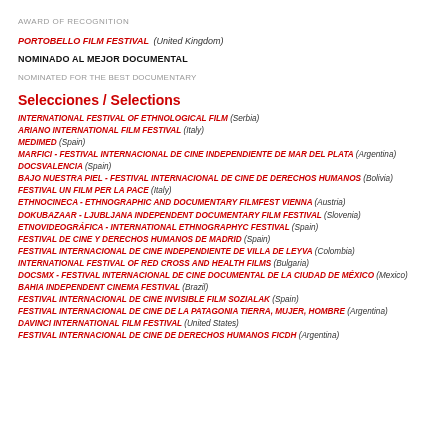AWARD OF RECOGNITION
PORTOBELLO FILM FESTIVAL (United Kingdom)
NOMINADO AL MEJOR DOCUMENTAL
NOMINATED FOR THE BEST DOCUMENTARY
Selecciones / Selections
INTERNATIONAL FESTIVAL OF ETHNOLOGICAL FILM (Serbia)
ARIANO INTERNATIONAL FILM FESTIVAL (Italy)
MEDIMED (Spain)
MARFICI - FESTIVAL INTERNACIONAL DE CINE INDEPENDIENTE DE MAR DEL PLATA (Argentina)
DOCSVALENCIA (Spain)
BAJO NUESTRA PIEL - FESTIVAL INTERNACIONAL DE CINE DE DERECHOS HUMANOS (Bolivia)
FESTIVAL UN FILM PER LA PACE (Italy)
ETHNOCINECA - ETHNOGRAPHIC AND DOCUMENTARY FILMFEST VIENNA (Austria)
DOKUBAZAAR - LJUBLJANA INDEPENDENT DOCUMENTARY FILM FESTIVAL (Slovenia)
ETNOVIDEOGRÁFICA - INTERNATIONAL ETHNOGRAPHYC FESTIVAL (Spain)
FESTIVAL DE CINE Y DERECHOS HUMANOS DE MADRID (Spain)
FESTIVAL INTERNACIONAL DE CINE INDEPENDIENTE DE VILLA DE LEYVA (Colombia)
INTERNATIONAL FESTIVAL OF RED CROSS AND HEALTH FILMS (Bulgaria)
DOCSMX - FESTIVAL INTERNACIONAL DE CINE DOCUMENTAL DE LA CIUDAD DE MÉXICO (Mexico)
BAHIA INDEPENDENT CINEMA FESTIVAL (Brazil)
FESTIVAL INTERNACIONAL DE CINE INVISIBLE FILM SOZIALAK (Spain)
FESTIVAL INTERNACIONAL DE CINE DE LA PATAGONIA TIERRA, MUJER, HOMBRE (Argentina)
DAVINCI INTERNATIONAL FILM FESTIVAL (United States)
FESTIVAL INTERNACIONAL DE CINE DE DERECHOS HUMANOS FICDH (Argentina)